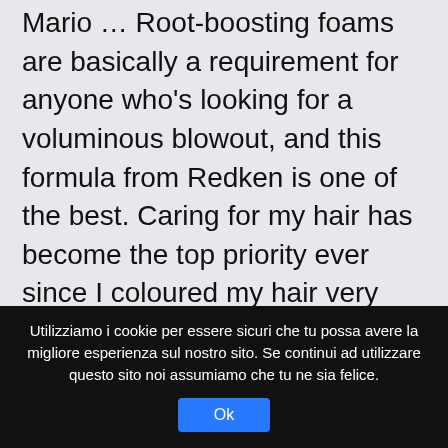Mario … Root-boosting foams are basically a requirement for anyone who's looking for a voluminous blowout, and this formula from Redken is one of the best. Caring for my hair has become the top priority ever since I coloured my hair very light, and I've been recently trialling out a lot of OUAI Haircare products so I thought I'd mention my picks for the best … EWG's Skin Deep® database gives you practical solutions to protect yourself and your family from everyday exposures to chemicals in personal care products. Ouai offers a large selection of
Utilizziamo i cookie per essere sicuri che tu possa avere la migliore esperienza sul nostro sito. Se continui ad utilizzare questo sito noi assumiamo che tu ne sia felice.
Ok